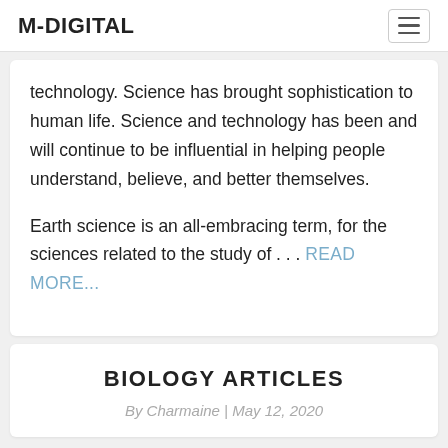M-DIGITAL
technology. Science has brought sophistication to human life. Science and technology has been and will continue to be influential in helping people understand, believe, and better themselves.

Earth science is an all-embracing term, for the sciences related to the study of . . . READ MORE...
BIOLOGY ARTICLES
By Charmaine | May 12, 2020